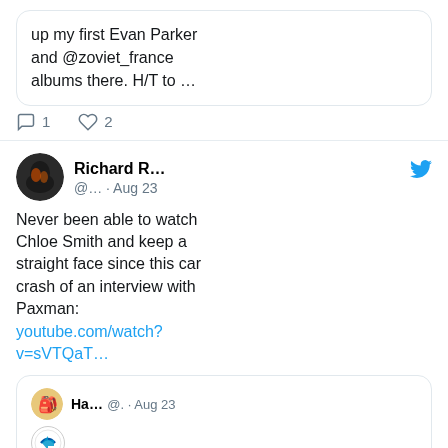up my first Evan Parker and @zoviet_france albums there. H/T to …
1 reply, 2 likes
Richard R… @… · Aug 23
Never been able to watch Chloe Smith and keep a straight face since this car crash of an interview with Paxman: youtube.com/watch?v=sVTQaT…
Ha… @. · Aug 23 #KayBurley: What's Liz Truss going to do about the energy price